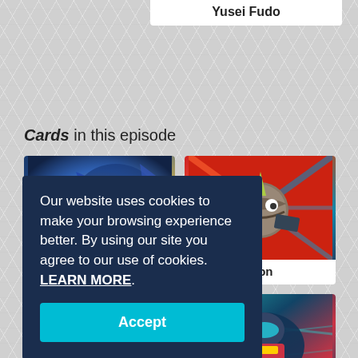Yusei Fudo
Cards in this episode
[Figure (illustration): Yu-Gi-Oh card art: a blue dragon with golden energy effects]
...agon
[Figure (illustration): Yu-Gi-Oh card art: Drill Synchron - a round robotic creature with a drill horn and wing-like extensions, with red and teal speed lines]
Drill Synchron
[Figure (illustration): Yu-Gi-Oh card art: a white/light blue ethereal creature]
[Figure (illustration): Yu-Gi-Oh card art: a mechanical racer/vehicle character in teal and red]
Our website uses cookies to make your browsing experience better. By using our site you agree to our use of cookies. LEARN MORE.
Accept